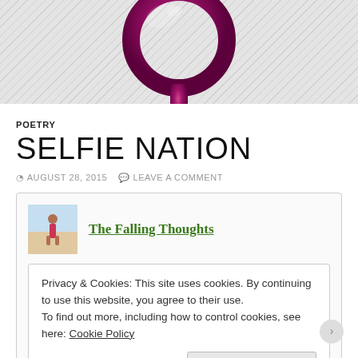[Figure (illustration): Female/Venus symbol in shiny dark purple/magenta color on a diagonal stripe grey background, cropped at top]
POETRY
SELFIE NATION
AUGUST 28, 2015  LEAVE A COMMENT
The Falling Thoughts
Privacy & Cookies: This site uses cookies. By continuing to use this website, you agree to their use.
To find out more, including how to control cookies, see here: Cookie Policy
Close and accept